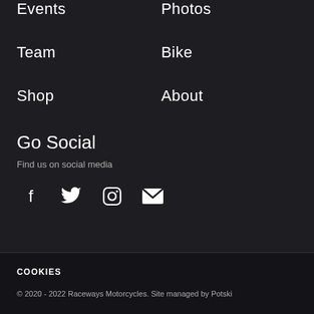Events
Photos
Team
Bike
Shop
About
Go Social
Find us on social media
[Figure (infographic): Social media icons: Facebook, Twitter, Instagram, Email]
COOKIES
© 2020 - 2022 Raceways Motorcycles. Site managed by Potski